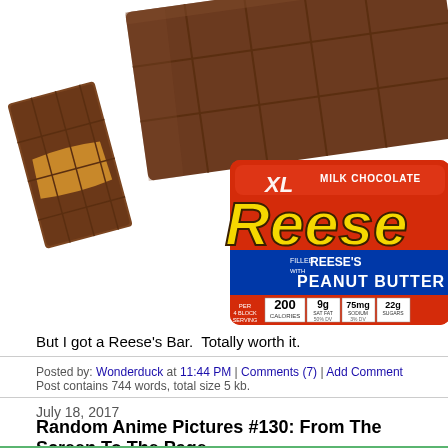[Figure (photo): Photo of a Reese's XL milk chocolate peanut butter bar package with a partially broken chocolate bar behind it, showing nutrition info: 200 calories, 9g fat, 75mg sodium, 22g sugars per 4 block serving]
But I got a Reese's Bar.  Totally worth it.
Posted by: Wonderduck at 11:44 PM | Comments (7) | Add Comment
Post contains 744 words, total size 5 kb.
July 18, 2017
Random Anime Pictures #130: From The Screen To The Page...
[Figure (photo): Bottom portion of an anime screenshot showing green/teal background with a character partially visible]